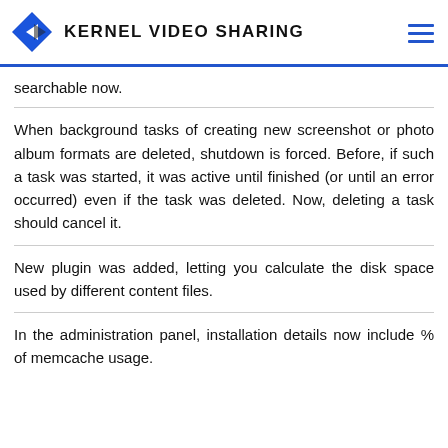KERNEL VIDEO SHARING
searchable now.
When background tasks of creating new screenshot or photo album formats are deleted, shutdown is forced. Before, if such a task was started, it was active until finished (or until an error occurred) even if the task was deleted. Now, deleting a task should cancel it.
New plugin was added, letting you calculate the disk space used by different content files.
In the administration panel, installation details now include % of memcache usage.